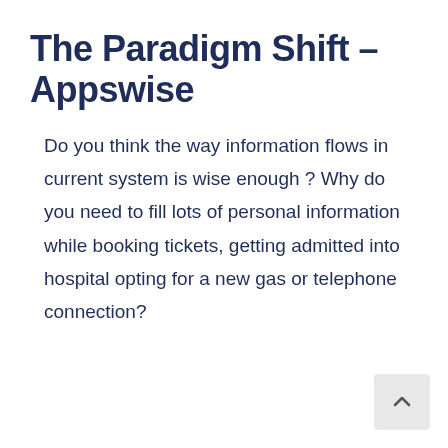The Paradigm Shift – Appswise
Do you think the way information flows in current system is wise enough ? Why do you need to fill lots of personal information while booking tickets, getting admitted into hospital opting for a new gas or telephone connection?